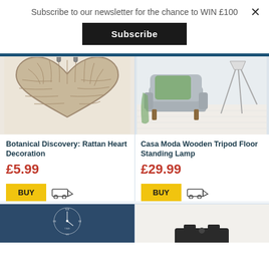Subscribe to our newsletter for the chance to WIN £100
Subscribe
[Figure (photo): Woven rattan heart-shaped wall decoration on white background]
Botanical Discovery: Rattan Heart Decoration
£5.99
BUY
[Figure (photo): Grey armchair with green cushion and throw, and wooden tripod floor lamp on white floor]
Casa Moda Wooden Tripod Floor Standing Lamp
£29.99
BUY
[Figure (photo): Dark blue background with clock face design (partial)]
[Figure (photo): Light background with dark object at bottom (partial)]